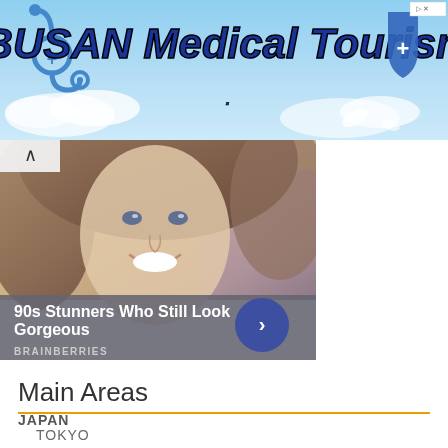[Figure (infographic): BUSAN Medical Tourism banner advertisement with blue sky background, stethoscope icon on left, shield/cross icon on right]
[Figure (photo): Brainberries widget showing a 90s woman smiling with blonde curly hair, overlay text '90s Stunners Who Still Look Gorgeous' with BRAINBERRIES source label and blue arrow button]
Main Areas
JAPAN
TOKYO
OSAKA
KYOTO
HOKKAIDO
SPAIN